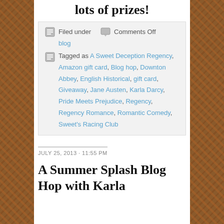lots of prizes!
Filed under   Comments Off
blog
Tagged as A Sweet Deception Regency, Amazon gift card, Blog hop, Downton Abbey, English Historical, gift card, Giveaway, Jane Austen, Karla Darcy, Pride Meets Prejudice, Regency, Regency Romance, Romantic Comedy, Sweet's Racing Club
JULY 25, 2013 · 11:55 PM
A Summer Splash Blog Hop with Karla